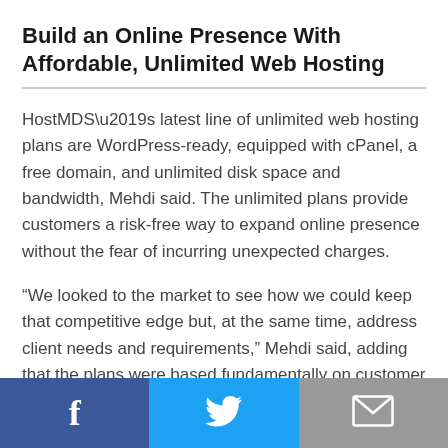Build an Online Presence With Affordable, Unlimited Web Hosting
HostMDS’s latest line of unlimited web hosting plans are WordPress-ready, equipped with cPanel, a free domain, and unlimited disk space and bandwidth, Mehdi said. The unlimited plans provide customers a risk-free way to expand online presence without the fear of incurring unexpected charges.
“We looked to the market to see how we could keep that competitive edge but, at the same time, address client needs and requirements,” Mehdi said, adding that the plans were based fundamentally on customer feedback. “We talked to different users and web designers, and we
[Figure (infographic): Footer social share bar with three buttons: Facebook (blue, f icon), Twitter (light blue, bird icon), and email/mail (grey, envelope icon)]